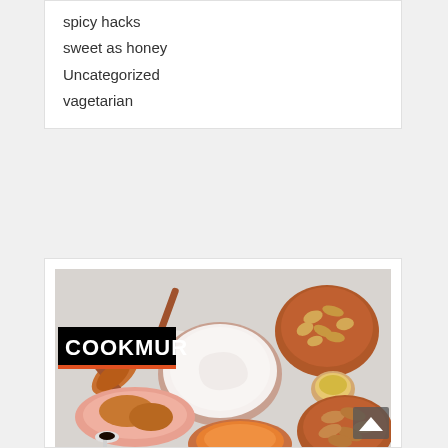spicy hacks
sweet as honey
Uncategorized
vagetarian
[Figure (photo): Overhead view of cooking ingredients including yogurt in a bowl, cashews in a terracotta bowl, almonds in a terracotta bowl, spices on wooden spoons, orange sauce in a bowl, and oil in a small cup, with COOKMUR logo overlay in top left.]